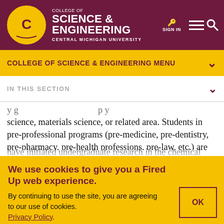COLLEGE OF SCIENCE & ENGINEERING — CENTRAL MICHIGAN UNIVERSITY
COLLEGE OF SCIENCE & ENGINEERING MENU
IN THIS SECTION
science, materials science, or related area. Students in pre-professional programs (pre-medicine, pre-dentistry, pre-pharmacy, pre-health professions, pre-law, etc.) are not eligible for consideration. Preferably, the student will have initiated undergraduate research in the chemical
We use cookies to give you a Fired Up web experience.
By continuing to use the site, you are agreeing to our use of cookies. Privacy Policy.